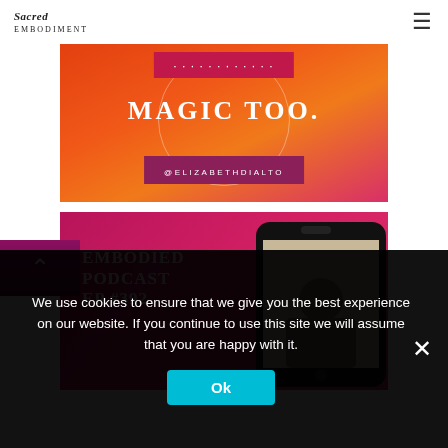Sacred Embodiment
[Figure (illustration): Orange-to-red gradient Instagram-style post card with circular outline, text 'MAGIC TOO.' in large serif font, a pink/magenta banner at top with partially visible text, and '@ELIZABETHDIALTO' handle tag at bottom.]
[Figure (illustration): Magenta/pink Instagram post card showing 'EMBODIED PODCAST EP #392' text on the left in bold serif font and a smartphone displaying a video on the right, with a copy/share icon at top right.]
We use cookies to ensure that we give you the best experience on our website. If you continue to use this site we will assume that you are happy with it.